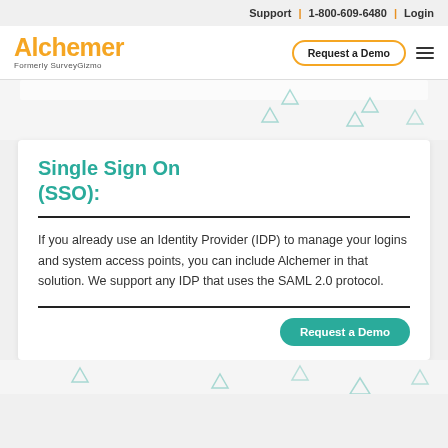Support | 1-800-609-6480 | Login
[Figure (logo): Alchemer logo (orange text) with tagline 'Formerly SurveyGizmo', plus 'Request a Demo' outlined button and hamburger menu icon]
[Figure (illustration): Decorative background area with light teal Alchemer triangle watermark icons scattered]
Single Sign On (SSO):
If you already use an Identity Provider (IDP) to manage your logins and system access points, you can include Alchemer in that solution. We support any IDP that uses the SAML 2.0 protocol.